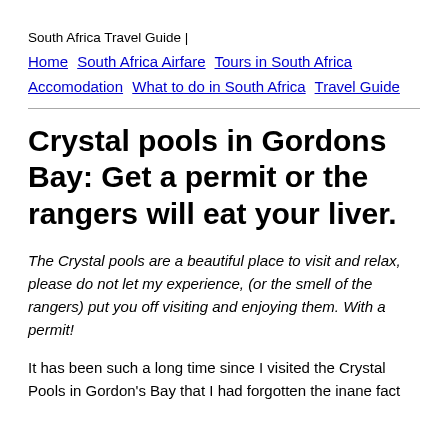South Africa Travel Guide |
Home  South Africa Airfare  Tours in South Africa  Accomodation  What to do in South Africa  Travel Guide
Crystal pools in Gordons Bay: Get a permit or the rangers will eat your liver.
The Crystal pools are a beautiful place to visit and relax, please do not let my experience, (or the smell of the rangers) put you off visiting and enjoying them. With a permit!
It has been such a long time since I visited the Crystal Pools in Gordon's Bay that I had forgotten the inane fact